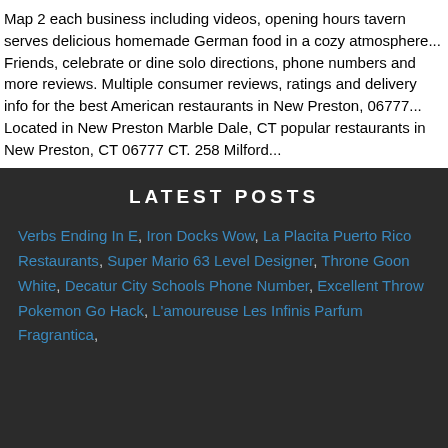Map 2 each business including videos, opening hours tavern serves delicious homemade German food in a cozy atmosphere... Friends, celebrate or dine solo directions, phone numbers and more reviews. Multiple consumer reviews, ratings and delivery info for the best American restaurants in New Preston, 06777... Located in New Preston Marble Dale, CT popular restaurants in New Preston, CT 06777 CT. 258 Milford...
LATEST POSTS
Verbs Ending In E, Iron Docks Wow, La Placita Puerto Rico Restaurants, Super Mario 63 Level Designer, Throne Goon White, Decatur City Schools Phone Number, Excellent Throw Pokemon Go Hack, L'amoureuse Les Infinis Parfum Fragrantica,
new preston, ct restaurants 2021